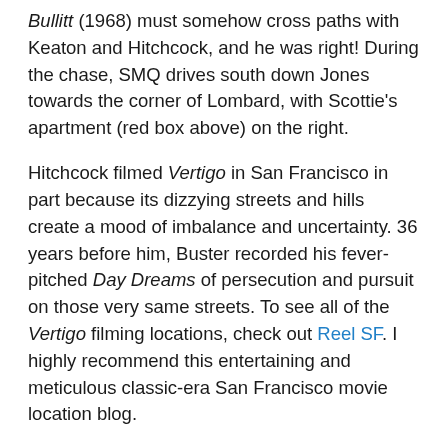Bullitt (1968) must somehow cross paths with Keaton and Hitchcock, and he was right! During the chase, SMQ drives south down Jones towards the corner of Lombard, with Scottie's apartment (red box above) on the right.
Hitchcock filmed Vertigo in San Francisco in part because its dizzying streets and hills create a mood of imbalance and uncertainty. 36 years before him, Buster recorded his fever-pitched Day Dreams of persecution and pursuit on those very same streets. To see all of the Vertigo filming locations, check out Reel SF. I highly recommend this entertaining and meticulous classic-era San Francisco movie location blog.
Vertigo (C) 1958 Paramount Pictures. Day Dreams from Buster Keaton: The Shorts Collection 1917 – 1923 (C) 2016 Kino-Lorber, Lobster Films.